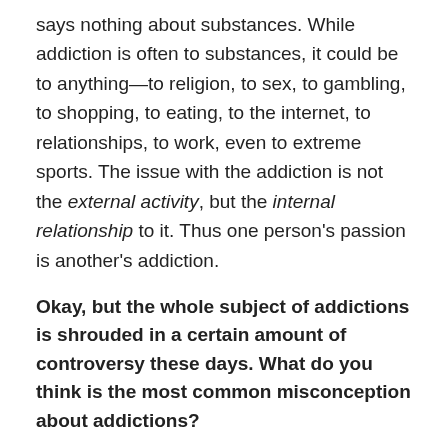says nothing about substances. While addiction is often to substances, it could be to anything—to religion, to sex, to gambling, to shopping, to eating, to the internet, to relationships, to work, even to extreme sports. The issue with the addiction is not the external activity, but the internal relationship to it. Thus one person's passion is another's addiction.
Okay, but the whole subject of addictions is shrouded in a certain amount of controversy these days. What do you think is the most common misconception about addictions?
Well, there are a number of things that people often don't get. Many believe addictions are either a choice or some inherited disease. It's neither. An addiction always serves a purpose in people's lives: it gives comfort, a distraction